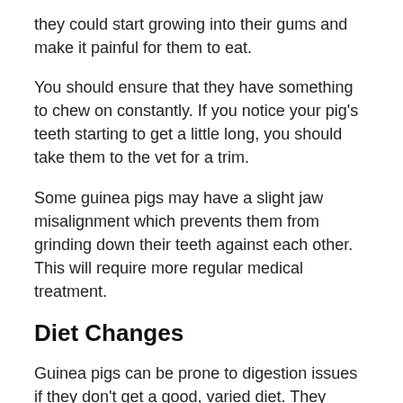they could start growing into their gums and make it painful for them to eat.
You should ensure that they have something to chew on constantly. If you notice your pig's teeth starting to get a little long, you should take them to the vet for a trim.
Some guinea pigs may have a slight jaw misalignment which prevents them from grinding down their teeth against each other. This will require more regular medical treatment.
Diet Changes
Guinea pigs can be prone to digestion issues if they don't get a good, varied diet. They struggle to absorb vitamin C, so it's essential that you provide plenty of vitamins through their fruit and veggies.